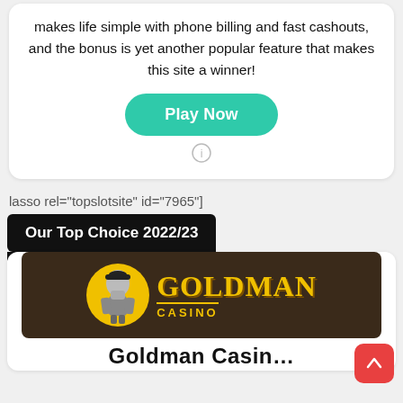makes life simple with phone billing and fast cashouts, and the bonus is yet another popular feature that makes this site a winner!
Play Now
lasso rel="topslotsite" id="7965"]
Our Top Choice 2022/23
[Figure (logo): Goldman Casino logo with man in bowler hat inside yellow circle, yellow text GOLDMAN CASINO on dark brown background]
Goldman Casin...